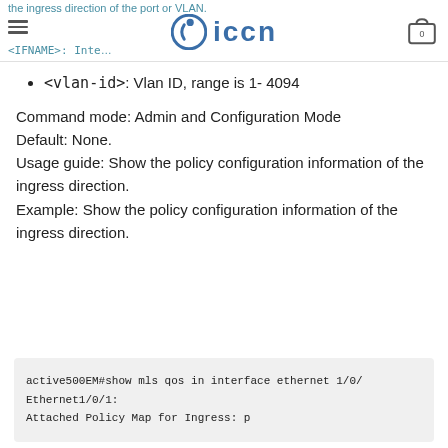the ingress direction of the port or VLAN.
<IFNAME>: Interface name...
<vlan-id>: Vlan ID, range is 1- 4094
Command mode: Admin and Configuration Mode
Default: None.
Usage guide: Show the policy configuration information of the ingress direction.
Example: Show the policy configuration information of the ingress direction.
active500EM#show mls qos in interface ethernet 1/0/
Ethernet1/0/1:
Attached Policy Map for Ingress: p